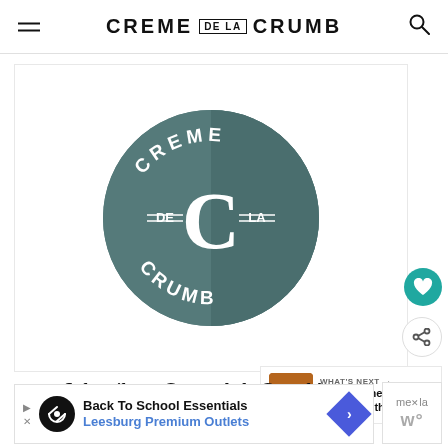CREME DE LA CRUMB
[Figure (logo): Creme de la Crumb circular logo: dark teal/slate circle with large white C letter in center, text CREME arced along top, CRUMB arced along bottom, DE on left and LA on right with short horizontal rules]
Subscribe to Creme de la Crumb!
WHAT'S NEXT → Honey Lime Salmon with...
Back To School Essentials Leesburg Premium Outlets